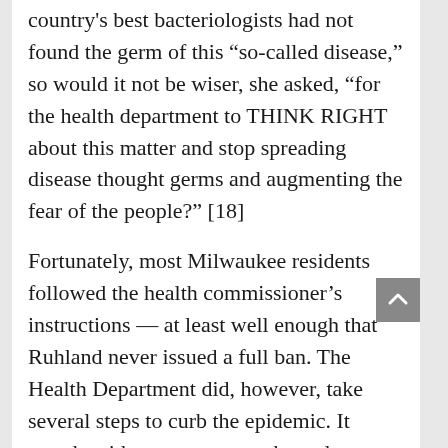country's best bacteriologists had not found the germ of this “so-called disease,” so would it not be wiser, she asked, “for the health department to THINK RIGHT about this matter and stop spreading disease thought germs and augmenting the fear of the people?” [18]
Fortunately, most Milwaukee residents followed the health commissioner’s instructions — at least well enough that Ruhland never issued a full ban. The Health Department did, however, take several steps to curb the epidemic. It urged residents to wear masks and quarantined infected households, posting bright red “INFLUENZA” signs on them. It required theaters and churches to reduce attendance by roughly 50 percent by filling alternate seats and excluding children under 15 years old. Ruhland closed schools and libraries, and forbid crowding on streetcars and in stores. The poor timing was not lost on William George Bruce. He noted on December 15 that the “sun shines brightly this